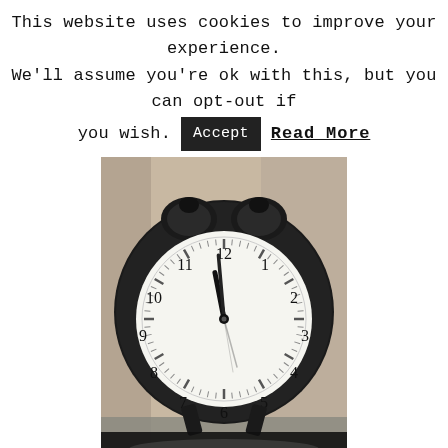This website uses cookies to improve your experience. We'll assume you're ok with this, but you can opt-out if you wish. [Accept] Read More
[Figure (photo): A black analog alarm clock with a white face showing numbers 1-12, photographed close-up with a blurred background. The clock shows approximately 12:58. Below the clock image is a dark bar with the text www.KAinspired.com in white italic font.]